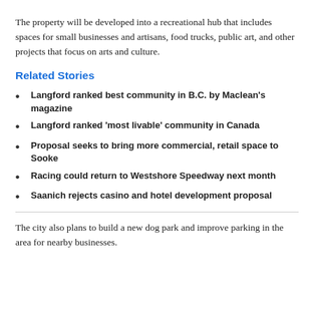The property will be developed into a recreational hub that includes spaces for small businesses and artisans, food trucks, public art, and other projects that focus on arts and culture.
Related Stories
Langford ranked best community in B.C. by Maclean's magazine
Langford ranked 'most livable' community in Canada
Proposal seeks to bring more commercial, retail space to Sooke
Racing could return to Westshore Speedway next month
Saanich rejects casino and hotel development proposal
The city also plans to build a new dog park and improve parking in the area for nearby businesses.